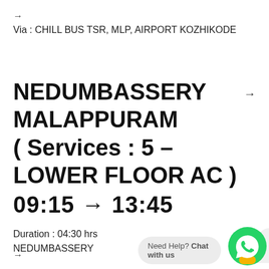→
Via : CHILL BUS TSR, MLP, AIRPORT KOZHIKODE
NEDUMBASSERY MALAPPURAM ( Services : 5 – LOWER FLOOR AC )
09:15 → 13:45
Duration : 04:30 hrs
NEDUMBASSERY
→
Need Help? Chat with us